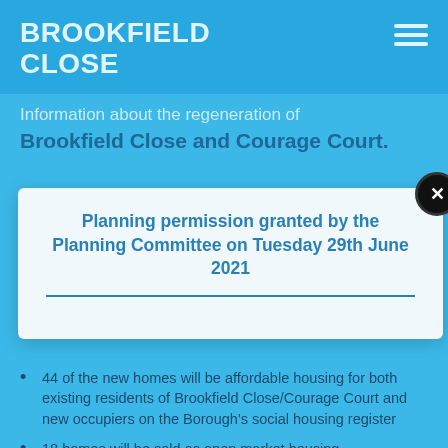BROOKFIELD CLOSE
Information about the regeneration of Brookfield Close and Courage Court.
Planning permission granted by the Planning Committee on Tuesday 29th June 2021
44 of the new homes will be affordable housing for both existing residents of Brookfield Close/Courage Court and new occupiers on the Borough's social housing register
18 homes will be sold as open market housing
Extension and conversion of Courage Court into 22 apartments